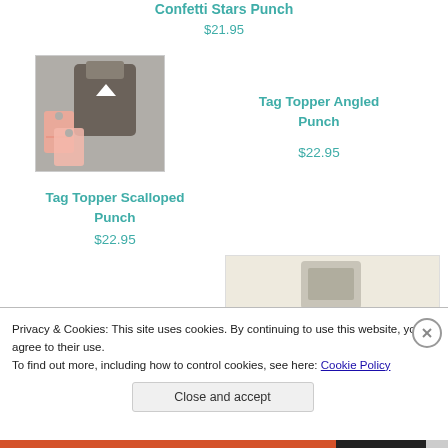Confetti Stars Punch
$21.95
[Figure (photo): Photo of a paper punch tool with salmon/pink punched tag shapes on a gray background]
Tag Topper Angled Punch
$22.95
Tag Topper Scalloped Punch
$22.95
[Figure (photo): Partial photo of another punch tool on a light beige background]
Privacy & Cookies: This site uses cookies. By continuing to use this website, you agree to their use.
To find out more, including how to control cookies, see here: Cookie Policy
Close and accept